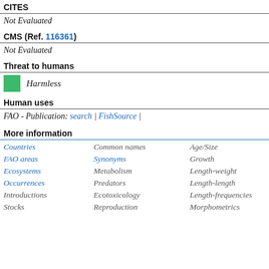CITES
Not Evaluated
CMS (Ref. 116361)
Not Evaluated
Threat to humans
Harmless
Human uses
FAO - Publication: search | FishSource |
More information
| Countries | Common names | Age/Size |
| FAO areas | Synonyms | Growth |
| Ecosystems | Metabolism | Length-weight |
| Occurrences | Predators | Length-length |
| Introductions | Ecotoxicology | Length-frequencies |
| Stocks | Reproduction | Morphometrics |